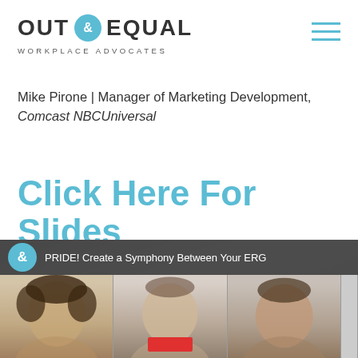[Figure (logo): Out & Equal Workplace Advocates logo - circular teal ampersand badge between OUT and EQUAL text, with WORKPLACE ADVOCATES subtitle]
Mike Pirone | Manager of Marketing Development, Comcast NBCUniversal
Click Here For Slides
[Figure (screenshot): Video thumbnail showing PRIDE! Create a Symphony Between Your ERG title bar with teal ampersand circle icon, and three people's headshots below]